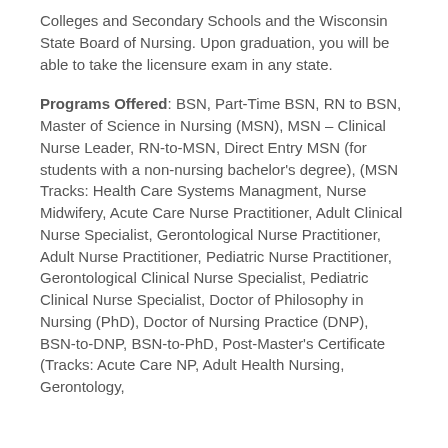Colleges and Secondary Schools and the Wisconsin State Board of Nursing. Upon graduation, you will be able to take the licensure exam in any state.
Programs Offered: BSN, Part-Time BSN, RN to BSN, Master of Science in Nursing (MSN), MSN – Clinical Nurse Leader, RN-to-MSN, Direct Entry MSN (for students with a non-nursing bachelor's degree), (MSN Tracks: Health Care Systems Managment, Nurse Midwifery, Acute Care Nurse Practitioner, Adult Clinical Nurse Specialist, Gerontological Nurse Practitioner, Adult Nurse Practitioner, Pediatric Nurse Practitioner, Gerontological Clinical Nurse Specialist, Pediatric Clinical Nurse Specialist, Doctor of Philosophy in Nursing (PhD), Doctor of Nursing Practice (DNP), BSN-to-DNP, BSN-to-PhD, Post-Master's Certificate (Tracks: Acute Care NP, Adult Health Nursing, Gerontology,